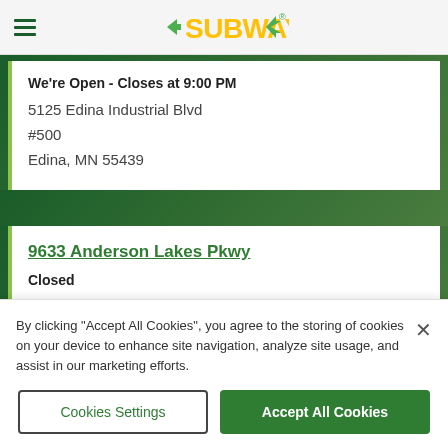SUBWAY
We're Open - Closes at 9:00 PM
5125 Edina Industrial Blvd
#500
Edina, MN 55439
9633 Anderson Lakes Pkwy
Closed
9633 Anderson Lakes Pkwy
Eden Prairie, MN 55344
By clicking "Accept All Cookies", you agree to the storing of cookies on your device to enhance site navigation, analyze site usage, and assist in our marketing efforts.